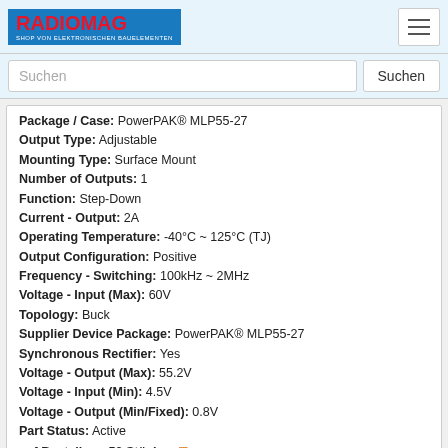RADIOMAG - SHOP VON ELEKTRONISCHEN BAUELEMENTEN
Suchen
| Property | Value |
| --- | --- |
| Package / Case: | PowerPAK® MLP55-27 |
| Output Type: | Adjustable |
| Mounting Type: | Surface Mount |
| Number of Outputs: | 1 |
| Function: | Step-Down |
| Current - Output: | 2A |
| Operating Temperature: | -40°C ~ 125°C (TJ) |
| Output Configuration: | Positive |
| Frequency - Switching: | 100kHz ~ 2MHz |
| Voltage - Input (Max): | 60V |
| Topology: | Buck |
| Supplier Device Package: | PowerPAK® MLP55-27 |
| Synchronous Rectifier: | Yes |
| Voltage - Output (Max): | 55.2V |
| Voltage - Input (Min): | 4.5V |
| Voltage - Output (Min/Fixed): | 0.8V |
| Part Status: | Active |
auf Bestellung 53 Stücke 🚚
Lieferzeit 21-28 Tag (e)